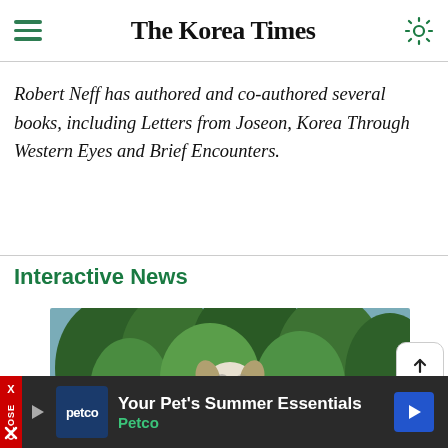The Korea Times
Robert Neff has authored and co-authored several books, including Letters from Joseon, Korea Through Western Eyes and Brief Encounters.
Interactive News
[Figure (photo): A dog standing outdoors amid green foliage with trees in background, smiling with tongue out]
'Santa dogs' help
Your Pet's Summer Essentials Petco